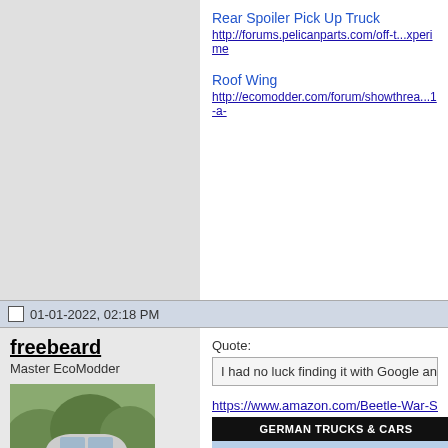Rear Spoiler Pick Up Truck
http://forums.pelicanparts.com/off-t...xperime
Roof Wing
http://ecomodder.com/forum/showthrea...1-a-
01-01-2022, 02:18 PM
freebeard
Master EcoModder
[Figure (photo): Photo of a white hatchback car parked outdoors with trees in the background]
Join Date: Aug 2012
Location: northwest of normal
Posts: 23,426
Thanks: 6,607
Thanked 7,471 Times in 6,091 Posts
Quote:
I had no luck finding it with Google and
https://www.amazon.com/Beetle-War-Sc.../
[Figure (photo): Book cover for 'VW Beetle at War' showing German Trucks & Cars title bar and red title text on a sky blue background with a military vehicle]